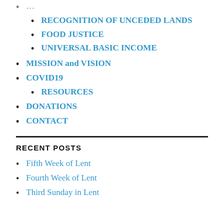RECOGNITION OF UNCEDED LANDS
FOOD JUSTICE
UNIVERSAL BASIC INCOME
MISSION and VISION
COVID19
RESOURCES
DONATIONS
CONTACT
RECENT POSTS
Fifth Week of Lent
Fourth Week of Lent
Third Sunday in Lent